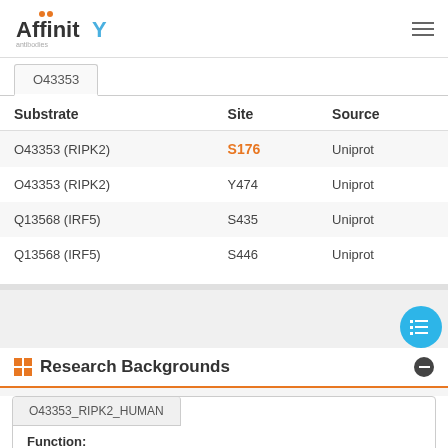AffinityBioscience
| Substrate | Site | Source |
| --- | --- | --- |
| O43353 (RIPK2) | S176 | Uniprot |
| O43353 (RIPK2) | Y474 | Uniprot |
| Q13568 (IRF5) | S435 | Uniprot |
| Q13568 (IRF5) | S446 | Uniprot |
Research Backgrounds
O43353_RIPK2_HUMAN
Function:
Serine/threonine/tyrosine kinase that plays an essential